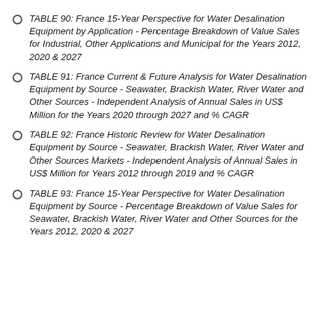TABLE 90: France 15-Year Perspective for Water Desalination Equipment by Application - Percentage Breakdown of Value Sales for Industrial, Other Applications and Municipal for the Years 2012, 2020 & 2027
TABLE 91: France Current & Future Analysis for Water Desalination Equipment by Source - Seawater, Brackish Water, River Water and Other Sources - Independent Analysis of Annual Sales in US$ Million for the Years 2020 through 2027 and % CAGR
TABLE 92: France Historic Review for Water Desalination Equipment by Source - Seawater, Brackish Water, River Water and Other Sources Markets - Independent Analysis of Annual Sales in US$ Million for Years 2012 through 2019 and % CAGR
TABLE 93: France 15-Year Perspective for Water Desalination Equipment by Source - Percentage Breakdown of Value Sales for Seawater, Brackish Water, River Water and Other Sources for the Years 2012, 2020 & 2027